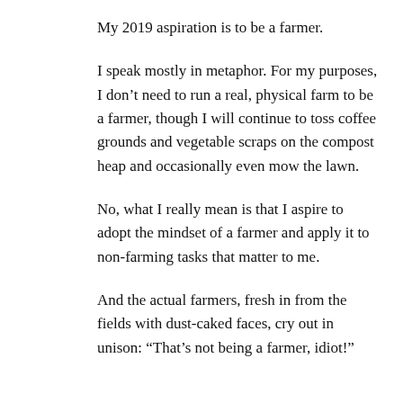My 2019 aspiration is to be a farmer.
I speak mostly in metaphor. For my purposes, I don't need to run a real, physical farm to be a farmer, though I will continue to toss coffee grounds and vegetable scraps on the compost heap and occasionally even mow the lawn.
No, what I really mean is that I aspire to adopt the mindset of a farmer and apply it to non-farming tasks that matter to me.
And the actual farmers, fresh in from the fields with dust-caked faces, cry out in unison: “That’s not being a farmer, idiot!”